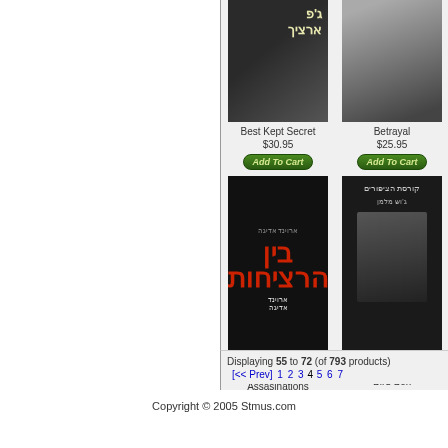[Figure (screenshot): Book listing page showing Hebrew-language book covers: Best Kept Secret ($30.95), Betrayal ($25.95), Between the Assasinations ($24.95), Bird Box ($25.95) with Add To Cart buttons]
Displaying 55 to 72 (of 793 products)
[<< Prev]  1  2  3  4  5  6  7
Copyright © 2005 Stmus.com